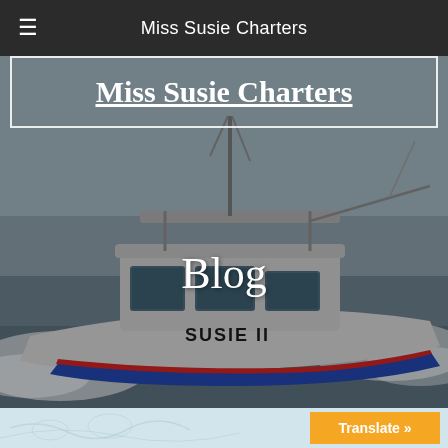Miss Susie Charters
Miss Susie Charters
[Figure (photo): A white charter fishing boat named Miss Susie II moving through ocean water at speed, with wake spray visible, photographed from a low angle against a grey sky.]
Blog
[Figure (other): Partial bottom strip with a faint nautical/fish map illustration in light blue-grey tones]
Translate »